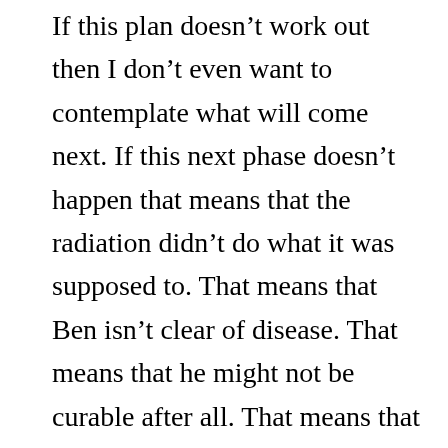If this plan doesn't work out then I don't even want to contemplate what will come next. If this next phase doesn't happen that means that the radiation didn't do what it was supposed to. That means that Ben isn't clear of disease. That means that he might not be curable after all. That means that a life that is already fraught with emotional terrorism will escalate from Orange to Red (according to the color-coded chart compliments of Homeland Security).